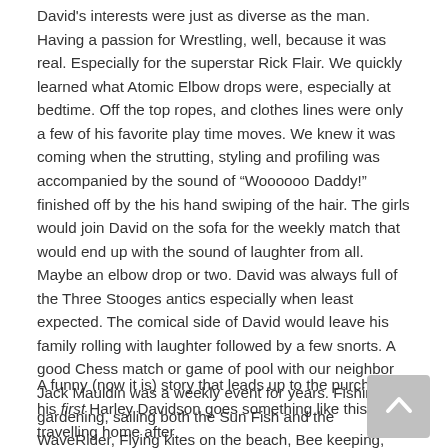David's interests were just as diverse as the man. Having a passion for Wrestling, well, because it was real. Especially for the superstar Rick Flair. We quickly learned what Atomic Elbow drops were, especially at bedtime. Off the top ropes, and clothes lines were only a few of his favorite play time moves. We knew it was coming when the strutting, styling and profiling was accompanied by the sound of "Woooooo Daddy!" finished off by the his hand swiping of the hair. The girls would join David on the sofa for the weekly match that would end up with the sound of laughter from all. Maybe an elbow drop or two. David was always full of the Three Stooges antics especially when least expected. The comical side of David would leave his family rolling with laughter followed by a few snorts. A good Chess match or game of pool with our neighbor Jack Mauldin was a weekly event for years. Fishing, gardening, sailing both the Sun Fish and the WaveRider, Flying kites on the beach, Bee keeping, enjoying a good Clive Cussler book, star gazing, and motorcycles were just the top of his long list of interest and hobbies.
A funny (now it is) story that leads up to the purchase of his first Harley Davidson goes something like this – travelling home after